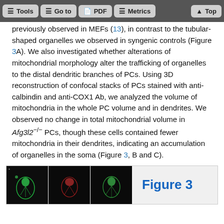Tools | Go to | PDF | Metrics | Top
previously observed in MEFs (13), in contrast to the tubular-shaped organelles we observed in syngenic controls (Figure 3A). We also investigated whether alterations of mitochondrial morphology alter the trafficking of organelles to the distal dendritic branches of PCs. Using 3D reconstruction of confocal stacks of PCs stained with anti-calbindin and anti-COX1 Ab, we analyzed the volume of mitochondria in the whole PC volume and in dendrites. We observed no change in total mitochondrial volume in Afg3l2−/− PCs, though these cells contained fewer mitochondria in their dendrites, indicating an accumulation of organelles in the soma (Figure 3, B and C).
[Figure (photo): Figure 3 panel showing microscopy images of cells in dark background with green/red fluorescent staining]